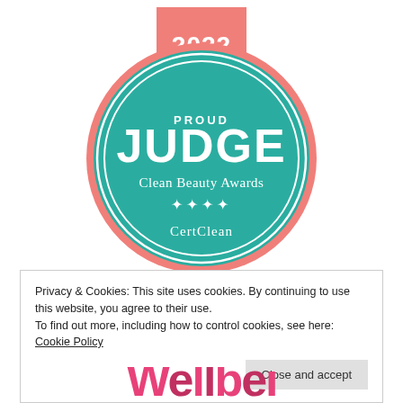[Figure (logo): 2022 Proud Judge Clean Beauty Awards CertClean badge — teal circle with salmon/coral ribbon banner at top showing '2022', white text inside circle reading 'PROUD JUDGE Clean Beauty Awards **** CertClean', with double white ring border]
Privacy & Cookies: This site uses cookies. By continuing to use this website, you agree to their use.
To find out more, including how to control cookies, see here: Cookie Policy
Close and accept
[Figure (logo): Partial coral/pink wordmark text visible at bottom of page — appears to be beginning of a website logo in large bold pink letters]